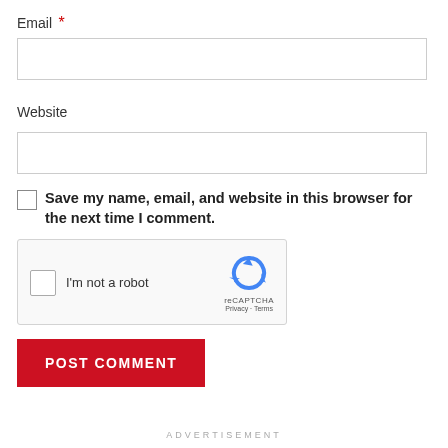Email *
Website
Save my name, email, and website in this browser for the next time I comment.
[Figure (other): reCAPTCHA widget with checkbox labeled I'm not a robot and reCAPTCHA logo with Privacy and Terms links]
POST COMMENT
ADVERTISEMENT